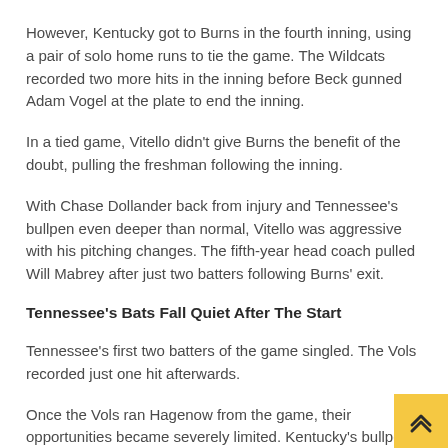However, Kentucky got to Burns in the fourth inning, using a pair of solo home runs to tie the game. The Wildcats recorded two more hits in the inning before Beck gunned Adam Vogel at the plate to end the inning.
In a tied game, Vitello didn't give Burns the benefit of the doubt, pulling the freshman following the inning.
With Chase Dollander back from injury and Tennessee's bullpen even deeper than normal, Vitello was aggressive with his pitching changes. The fifth-year head coach pulled Will Mabrey after just two batters following Burns' exit.
Tennessee's Bats Fall Quiet After The Start
Tennessee's first two batters of the game singled. The Vols recorded just one hit afterwards.
Once the Vols ran Hagenow from the game, their opportunities became severely limited. Kentucky's bullpen was fantastic, especially